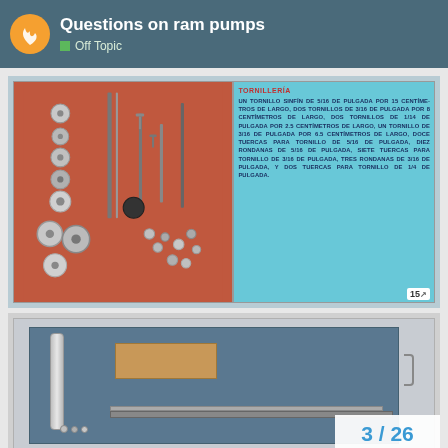Questions on ram pumps | Off Topic
[Figure (photo): Scanned page showing hardware/tornilleria: nuts, bolts, washers, screws laid out on orange/red background. Right panel on cyan background with Spanish text describing the screws and hardware. Page number 15 visible.]
TORNILLERIA
UN TORNILLO SINFIN DE 5/16 DE PULGADA POR 15 CENTIMETROS DE LARGO, DOS TORNILLOS DE 3/16 DE PULGADA POR 8 CENTIMETROS DE LARGO, DOS TORNILLOS DE 1/14 DE PULGADA POR 2.5 CENTIMETROS DE LARGO, UN TORNILLO DE 3/16 DE PULGADA POR 6.5 CENTIMETROS DE LARGO, DOCE TUERCAS PARA TORNILLO DE 5/16 DE PULGADA, DIEZ RONDANAS DE 5/16 DE PULGADA, SIETE TUERCAS PARA TORNILLO DE 3/16 DE PULGADA, TRES RONDANAS DE 3/16 DE PULGADA, Y DOS TUERCAS PARA TORNILLO DE 1/4 DE PULGADA.
[Figure (photo): Photo of ram pump components laid out on a blue board: cylindrical metal tube/roller, wooden block, metal strips/rods, and small hardware pieces. White border around photo.]
3 / 26